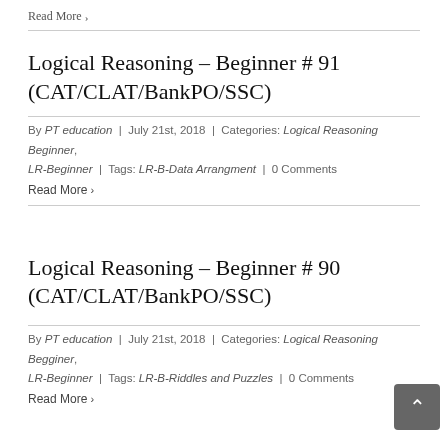Read More ›
Logical Reasoning – Beginner # 91 (CAT/CLAT/BankPO/SSC)
By PT education  |  July 21st, 2018  |  Categories: Logical Reasoning Beginner, LR-Beginner  |  Tags: LR-B-Data Arrangment  |  0 Comments
Read More ›
Logical Reasoning – Beginner # 90 (CAT/CLAT/BankPO/SSC)
By PT education  |  July 21st, 2018  |  Categories: Logical Reasoning Beginner, LR-Beginner  |  Tags: LR-B-Riddles and Puzzles  |  0 Comments
Read More ›